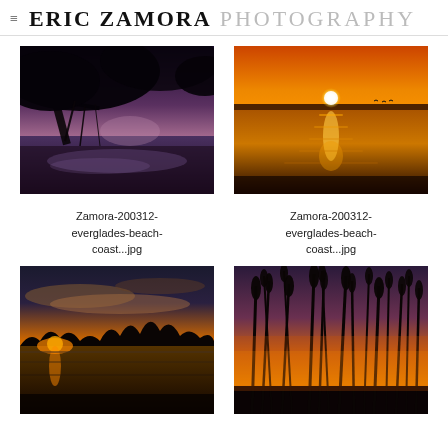ERIC ZAMORA PHOTOGRAPHY
[Figure (photo): Mangrove trees silhouetted over a beach/coastal water scene at dusk with purple-pink sky]
[Figure (photo): Sunset over a large lake or bay with orange sky and sun reflection on water]
Zamora-200312-everglades-beach-coast...jpg
Zamora-200312-everglades-beach-coast...jpg
[Figure (photo): Sunset behind silhouetted treeline over calm water with orange glow and cloudy sky]
[Figure (photo): Tall marsh reeds/grass silhouetted against orange and purple sunset sky]